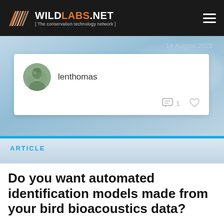WILDLABS.NET [ The conservation technology network ]
18 August 2022
lenthomas
ARTICLE
Do you want automated identification models made from your bird bioacoustics data?